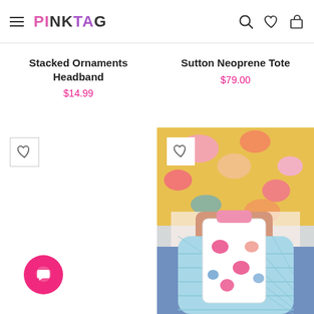PINKTAG
Stacked Ornaments Headband
$14.99
Sutton Neoprene Tote
$79.00
[Figure (photo): Photo of a woman in a floral blouse holding a light blue lattice/wicker tote bag containing a floral-print neoprene tote bag with pink handles]
[Figure (other): Empty product slot with heart/wishlist icon in top-left corner]
[Figure (other): Pink circular chat/support button in bottom-left corner]